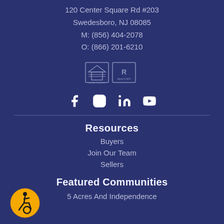120 Center Square Rd #203
Swedesboro, NJ 08085
M: (856) 404-2078
O: (866) 201-6210
[Figure (logo): Equal Housing and REALTOR logos]
[Figure (infographic): Social media icons: Facebook, Instagram, LinkedIn, YouTube]
Resources
Buyers
Join Our Team
Sellers
Featured Communities
5 Acres And Independence
[Figure (logo): Accessibility (wheelchair) icon in orange circle]